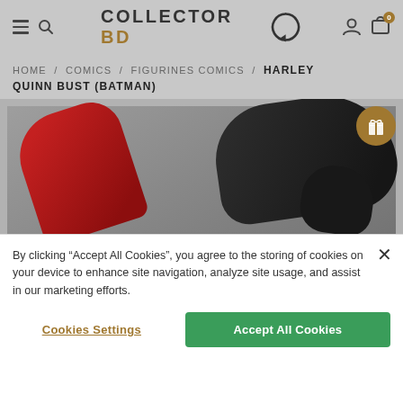COLLECTOR BD
HOME / COMICS / FIGURINES COMICS / HARLEY QUINN BUST (BATMAN)
[Figure (photo): Product photo of Harley Quinn Bust (Batman) figurine showing red and black costume elements against a gray background]
By clicking “Accept All Cookies”, you agree to the storing of cookies on your device to enhance site navigation, analyze site usage, and assist in our marketing efforts.
Cookies Settings    Accept All Cookies